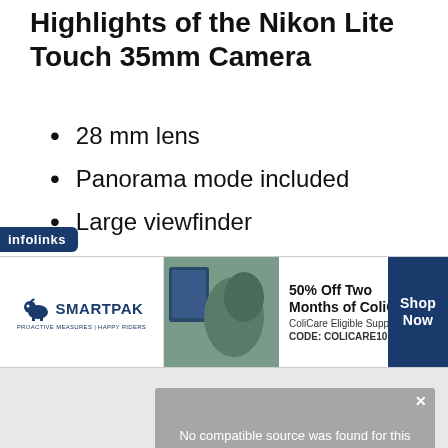Highlights of the Nikon Lite Touch 35mm Camera
28 mm lens
Panorama mode included
Large viewfinder
Compact design
Fully automatic
[Figure (screenshot): Video player error overlay showing 'No compatible source was found for this media.' with a close button]
[Figure (screenshot): SmartPak advertisement banner showing horse care product with '50% Off Two Months of ColiCare, ColiCare Eligible Supplements, CODE: COLICARE10' and a Shop Now button]
infolinks